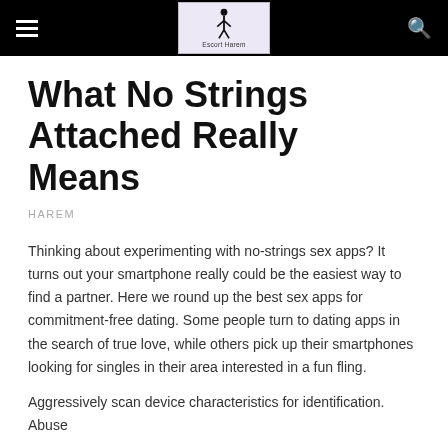Escort Harem
What No Strings Attached Really Means
HAREM
Thinking about experimenting with no-strings sex apps? It turns out your smartphone really could be the easiest way to find a partner. Here we round up the best sex apps for commitment-free dating. Some people turn to dating apps in the search of true love, while others pick up their smartphones looking for singles in their area interested in a fun fling.
Aggressively scan device characteristics for identification. Abuse